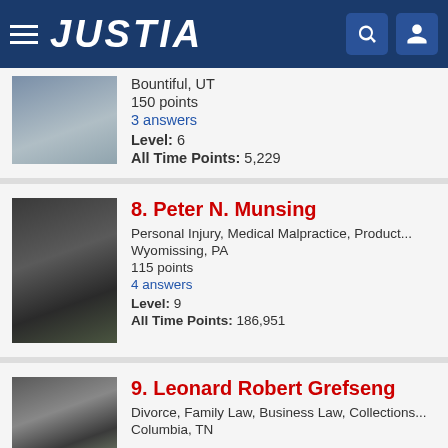JUSTIA
Bountiful, UT
150 points
3 answers
Level: 6
All Time Points: 5,229
8. Peter N. Munsing
Personal Injury, Medical Malpractice, Product...
Wyomissing, PA
115 points
4 answers
Level: 9
All Time Points: 186,951
9. Leonard Robert Grefseng
Divorce, Family Law, Business Law, Collections...
Columbia, TN